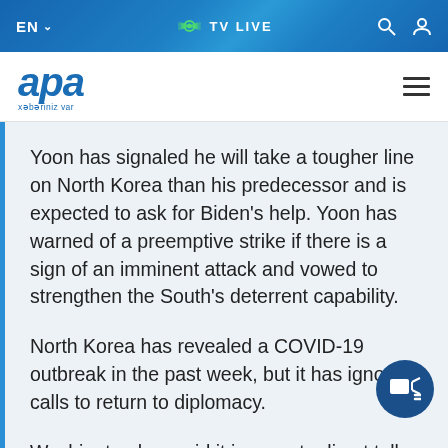EN  TV LIVE
[Figure (logo): APA news logo with italic blue text and tagline 'xəbəriniz var']
Yoon has signaled he will take a tougher line on North Korea than his predecessor and is expected to ask for Biden's help. Yoon has warned of a preemptive strike if there is a sign of an imminent attack and vowed to strengthen the South's deterrent capability.
North Korea has revealed a COVID-19 outbreak in the past week, but it has ignored calls to return to diplomacy.
Washington has said it is open to direct talks at